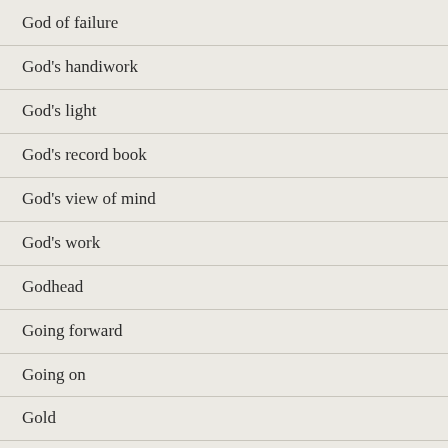God of failure
God's handiwork
God's light
God's record book
God's view of mind
God's work
Godhead
Going forward
Going on
Gold
Good or bad?
Gospel comfort
Gossip